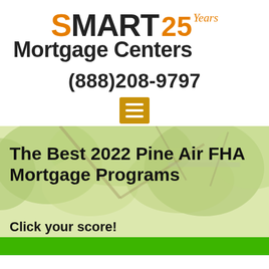[Figure (logo): SMART Mortgage Centers logo with '25 Years' in orange script]
(888)208-9797
[Figure (other): Orange hamburger menu icon with three white horizontal lines]
[Figure (photo): Background photo of trees and roof seen from below, with greenish overlay]
The Best 2022 Pine Air FHA Mortgage Programs
Click your score!
[Figure (other): Green button bar at the bottom]